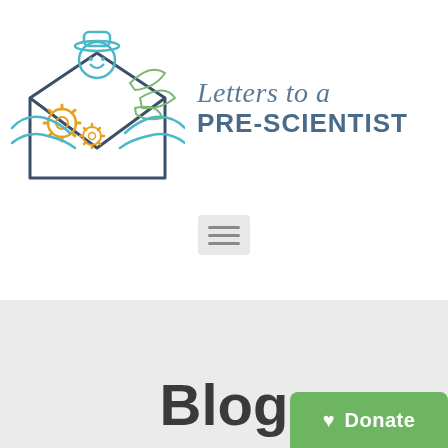[Figure (logo): Letters to a Pre-Scientist logo: illustration of hands holding an open envelope with a person peeking out, gears, and leaves, next to the text 'Letters to a PRE-SCIENTIST']
[Figure (other): Hamburger menu button (three horizontal lines) with light gray rounded rectangle background]
Blog
[Figure (other): Green 'Donate' button with heart icon, partially visible at bottom right]